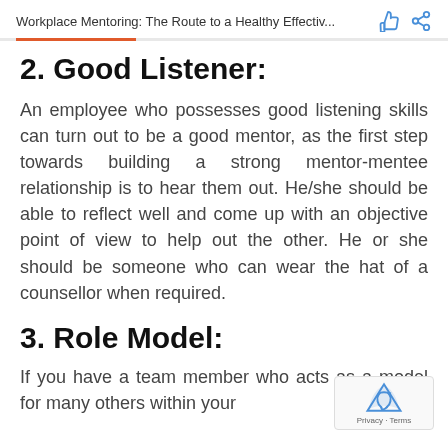Workplace Mentoring: The Route to a Healthy Effectiv...
2. Good Listener:
An employee who possesses good listening skills can turn out to be a good mentor, as the first step towards building a strong mentor-mentee relationship is to hear them out. He/she should be able to reflect well and come up with an objective point of view to help out the other. He or she should be someone who can wear the hat of a counsellor when required.
3. Role Model:
If you have a team member who acts as a model for many others within your